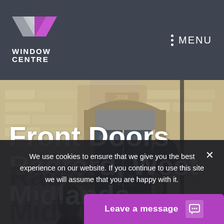[Figure (logo): Window Centre logo with pink/grey W icon and white text 'WINDOW CENTRE']
MENU
[Figure (photo): Stone-clad building exterior with dark grey double front door, flanked by potted plants and trees]
Front Doors Radford, West Midlands
We use cookies to ensure that we give you the best experience on our website. If you continue to use this site we will assume that you are happy with it.
Leave a message